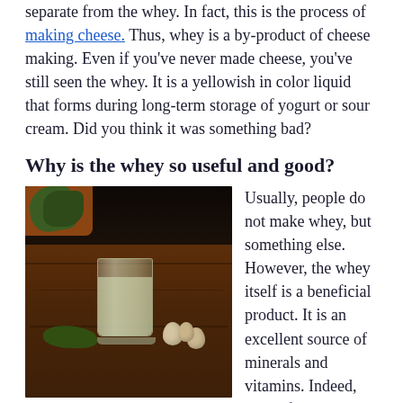separate from the whey. In fact, this is the process of making cheese. Thus, whey is a by-product of cheese making. Even if you've never made cheese, you've still seen the whey. It is a yellowish in color liquid that forms during long-term storage of yogurt or sour cream. Did you think it was something bad?
Why is the whey so useful and good?
[Figure (photo): A glass of whey (yellowish-white liquid) on a dark wooden table, surrounded by herbs and quail eggs, with a terracotta pot of plants in the background]
Usually, people do not make whey, but something else. However, the whey itself is a beneficial product. It is an excellent source of minerals and vitamins. Indeed, 90% of whey is water, but the remaining 10% contains a considerable amount of nutrients. At the same time, the calorie content is low. It is only 18-27 kilocalories per 100 grams. Besides being high in vitamins, antioxidants, and protein, whey is also rich in lactic acid. This substance is also present in the human body. Imagine that the chemical composition of lactic acid in